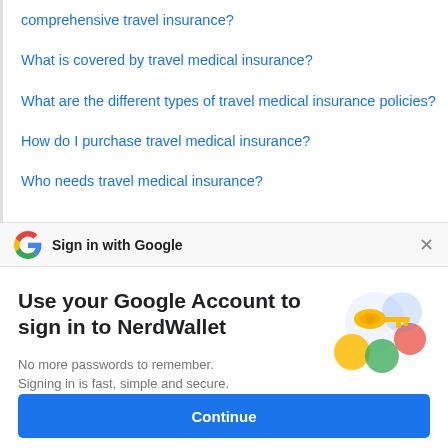comprehensive travel insurance?
What is covered by travel medical insurance?
What are the different types of travel medical insurance policies?
How do I purchase travel medical insurance?
Who needs travel medical insurance?
Sign in with Google
Use your Google Account to sign in to NerdWallet
No more passwords to remember. Signing in is fast, simple and secure.
[Figure (illustration): Google key illustration with colorful circles]
Continue